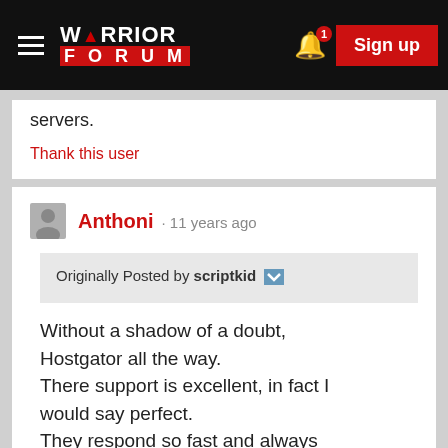Warrior Forum — Sign up
servers.
Thank this user
Anthoni · 11 years ago
Originally Posted by scriptkid
Without a shadow of a doubt, Hostgator all the way. There support is excellent, in fact I would say perfect. They respond so fast and always